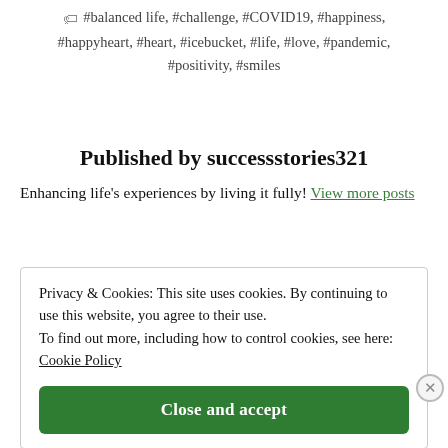🏷 #balanced life, #challenge, #COVID19, #happiness, #happyheart, #heart, #icebucket, #life, #love, #pandemic, #positivity, #smiles
Published by successstories321
Enhancing life's experiences by living it fully! View more posts
Privacy & Cookies: This site uses cookies. By continuing to use this website, you agree to their use. To find out more, including how to control cookies, see here: Cookie Policy
Close and accept